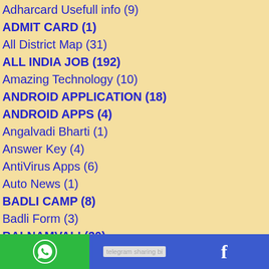Adharcard Usefull info (9)
ADMIT CARD (1)
All District Map (31)
ALL INDIA JOB (192)
Amazing Technology (10)
ANDROID APPLICATION (18)
ANDROID APPS (4)
Angalvadi Bharti (1)
Answer Key (4)
AntiVirus Apps (6)
Auto News (1)
BADLI CAMP (8)
Badli Form (3)
BALNAMVALI (30)
BANK JOBS (188)
Bank Usefull info (8)
[Figure (infographic): Social sharing bar with WhatsApp (green), Telegram (blue with broken image), and Facebook (blue with f icon)]